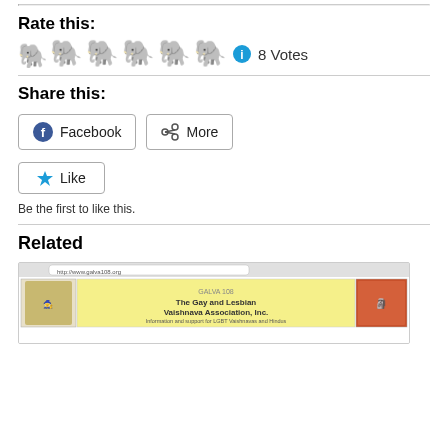Rate this:
3 filled stars, 2 empty stars, info icon, 8 Votes
Share this:
Facebook | More
Like
Be the first to like this.
Related
[Figure (screenshot): Screenshot of The Gay and Lesbian Vaishnava Association, Inc. website with yellow banner header and logos]